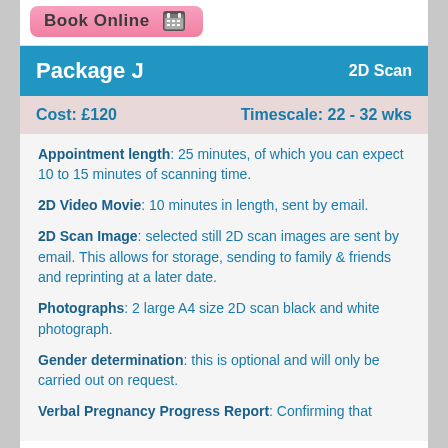[Figure (illustration): Pink 'Book Online' button with calendar icon]
Package J   2D Scan
Cost: £120   Timescale: 22 - 32 wks
Appointment length: 25 minutes, of which you can expect 10 to 15 minutes of scanning time.
2D Video Movie: 10 minutes in length, sent by email.
2D Scan Image: selected still 2D scan images are sent by email. This allows for storage, sending to family & friends and reprinting at a later date.
Photographs: 2 large A4 size 2D scan black and white photograph.
Gender determination: this is optional and will only be carried out on request.
Verbal Pregnancy Progress Report: Confirming that